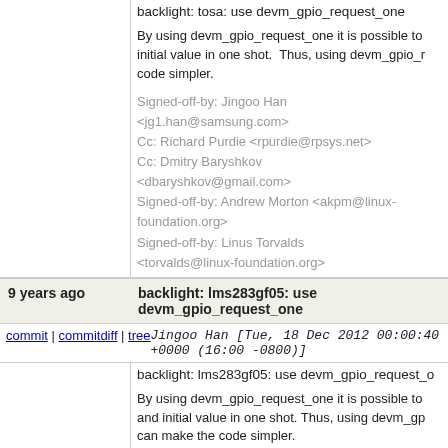backlight: tosa: use devm_gpio_request_one
By using devm_gpio_request_one it is possible to initial value in one shot. Thus, using devm_gpio_r code simpler.
Signed-off-by: Jingoo Han <jg1.han@samsung.com>
Cc: Richard Purdie <rpurdie@rpsys.net>
Cc: Dmitry Baryshkov <dbaryshkov@gmail.com>
Signed-off-by: Andrew Morton <akpm@linux-foundation.org>
Signed-off-by: Linus Torvalds <torvalds@linux-foundation.org>
9 years ago   backlight: lms283gf05: use devm_gpio_request_one
commit | commitdiff | tree   Jingoo Han [Tue, 18 Dec 2012 00:00:40 +0000 (16:00 -0800)]
backlight: lms283gf05: use devm_gpio_request_o
By using devm_gpio_request_one it is possible to and initial value in one shot. Thus, using devm_gp can make the code simpler.
Signed-off-by: Jingoo Han <jg1.han@samsung.com>
Cc: Richard Purdie ...